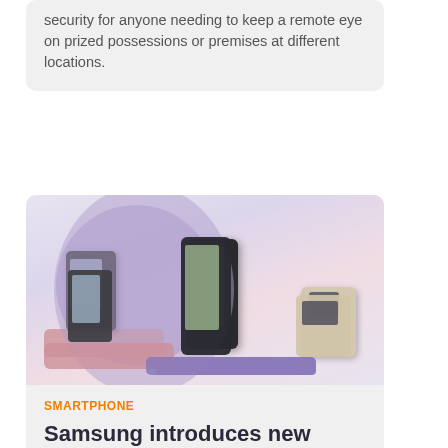security for anyone needing to keep a remote eye on prized possessions or premises at different locations.
[Figure (photo): Samsung foldable smartphones (Galaxy Z Flip series) displayed on pink and purple cylindrical pedestals against a light purple semicircle background]
SMARTPHONE
Samsung introduces new generation of foldable smartphones
Samsung has unveiled its new range